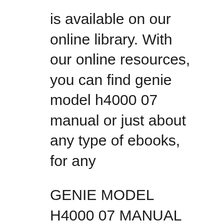is available on our online library. With our online resources, you can find genie model h4000 07 manual or just about any type of ebooks, for any
GENIE MODEL H4000 07 MANUAL PDF GENIE MODEL H4000 07 MANUAL PDF - Are you looking for Ebook genie model h4000 07 manual PDF? You will be glad to know that right now genie model h4000 07 manual PDF is available on our online library. With our online resources, you can find genie model h4000 07 manual or just about any type of ebooks, for any Discover the latest features and innovations available in the 24 inches Class H4000 LED TV. Find the perfect TVs for you!